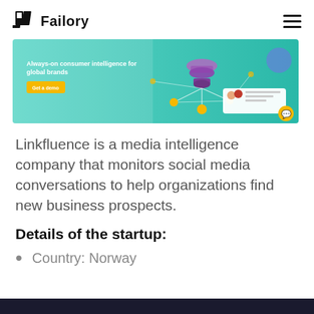Failory
[Figure (screenshot): Screenshot of Linkfluence website showing 'Always-on consumer intelligence for global brands' with a teal/turquoise background, a purple funnel graphic, a 'Get a demo' button, and a chat widget popup.]
Linkfluence is a media intelligence company that monitors social media conversations to help organizations find new business prospects.
Details of the startup:
Country: Norway